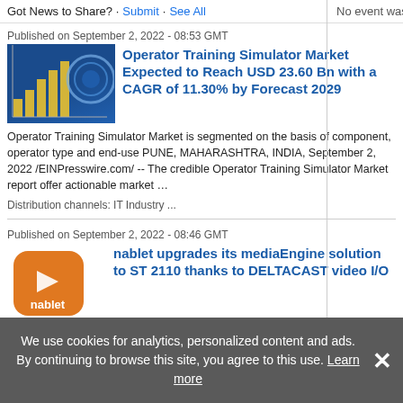Got News to Share? · Submit · See All
No event was found.
Published on September 2, 2022 - 08:53 GMT
Operator Training Simulator Market Expected to Reach USD 23.60 Bn with a CAGR of 11.30% by Forecast 2029
[Figure (illustration): Bar chart illustration with rising bars and circular diagram element on blue background]
Operator Training Simulator Market is segmented on the basis of component, operator type and end-use PUNE, MAHARASHTRA, INDIA, September 2, 2022 /EINPresswire.com/ -- The credible Operator Training Simulator Market report offer actionable market …
Distribution channels: IT Industry ...
Published on September 2, 2022 - 08:46 GMT
nablet upgrades its mediaEngine solution to ST 2110 thanks to DELTACAST video I/O
[Figure (logo): nablet logo: orange rounded square with white play triangle and 'nablet' text]
AACHEN, GERMANY, September 2, 2022 /
We use cookies for analytics, personalized content and ads. By continuing to browse this site, you agree to this use. Learn more